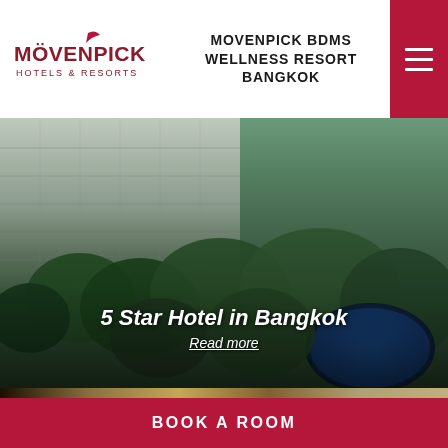MÖVENPICK HOTELS & RESORTS | MOVENPICK BDMS WELLNESS RESORT BANGKOK
[Figure (photo): Aerial view of Movenpick BDMS Wellness Resort Bangkok showing hotel building with balconies, lush tropical trees, and a circular swimming pool]
5 Star Hotel in Bangkok
Read more
[Figure (photo): BTS Skytrain in Bangkok with city buildings in background]
BOOK A ROOM